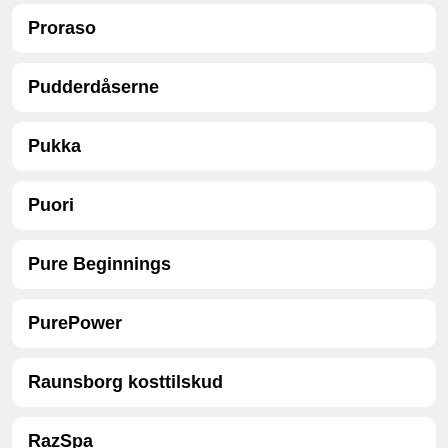Proraso
Pudderdåserne
Pukka
Puori
Pure Beginnings
PurePower
Raunsborg kosttilskud
RazSpa